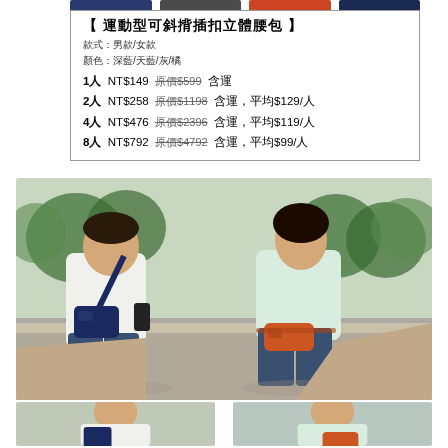[Figure (photo): Color swatches strip showing four bag colors: dark navy blue, dark gray, orange-red, and dark navy]
【 運動型可斜揹插扣立體腰包 】
款式：男款/女款
顏色：深藍/天藍/灰/橘
1人  NT$149  原價$599  含運
2人  NT$258  原價$1198  含運，平均$129/人
4人  NT$476  原價$2396  含運，平均$119/人
8人  NT$792  原價$4792  含運，平均$99/人
[Figure (photo): A man and woman sitting outdoors. The man wears a white t-shirt and jeans and carries a dark navy blue crossbody/waist bag over his shoulder. The woman wears a light mint top and jeans and has an orange waist bag at her waist. Background shows trees and a sports court.]
[Figure (photo): Two partial thumbnail photos at the bottom of the page showing close-up views of people wearing the waist bags.]